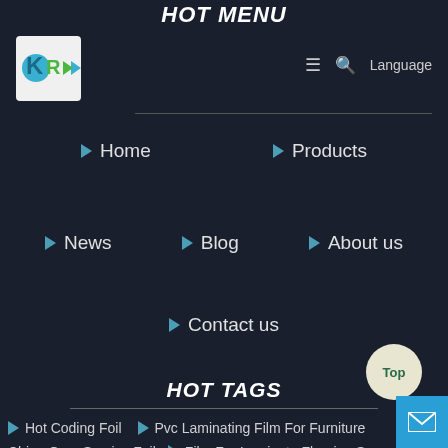HOT MENU
[Figure (logo): KR company logo with blue and green arrow shapes on light background]
≡  🔍  Language
Home
Products
News
Blog
About us
Contact us
HOT TAGS
Hot Coding Foil
Pvc Laminating Film For Furniture
China Oem Service Foil
Film For Laminate Flooring S
Pvc Plastic Roll
6 Mil Vapor Barrier Laminate Flooring